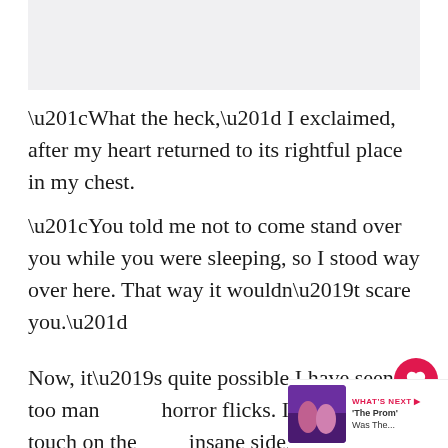[Figure (photo): Light gray rectangular image placeholder at top of page]
“What the heck,” I exclaimed, after my heart returned to its rightful place in my chest.
“You told me not to come stand over you while you were sleeping, so I stood way over here. That way it wouldn’t scare you.”
Now, it’s quite possible I have seen too many horror flicks. I may just be a touch on the insane side, but anyone in my dark room lurking while I sleep, is going to get hurt. It’s